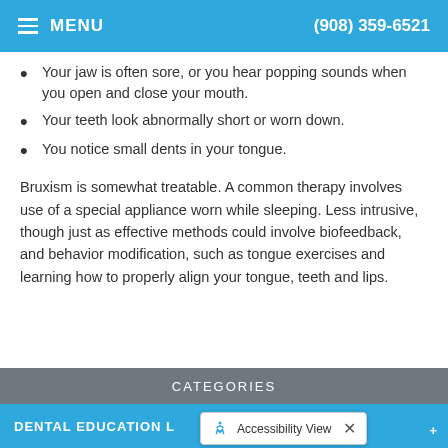MENU | (908) 359-6521
Your jaw is often sore, or you hear popping sounds when you open and close your mouth.
Your teeth look abnormally short or worn down.
You notice small dents in your tongue.
Bruxism is somewhat treatable. A common therapy involves use of a special appliance worn while sleeping. Less intrusive, though just as effective methods could involve biofeedback, and behavior modification, such as tongue exercises and learning how to properly align your tongue, teeth and lips.
CATEGORIES
DENTAL EDUCATION L...
Accessibility View